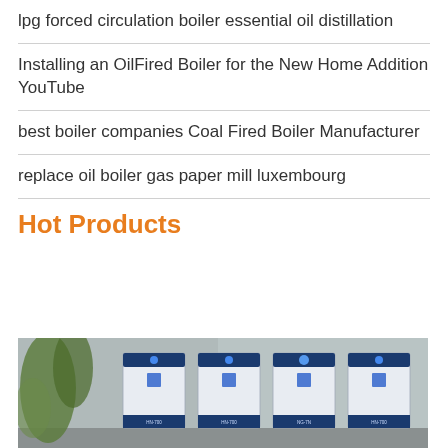lpg forced circulation boiler essential oil distillation
Installing an OilFired Boiler for the New Home Addition YouTube
best boiler companies Coal Fired Boiler Manufacturer
replace oil boiler gas paper mill luxembourg
Hot Products
[Figure (photo): Photograph of multiple industrial boiler units (blue and white, labeled HN-700, HN-700, NG-7N) arranged side by side outdoors with plants in the background]